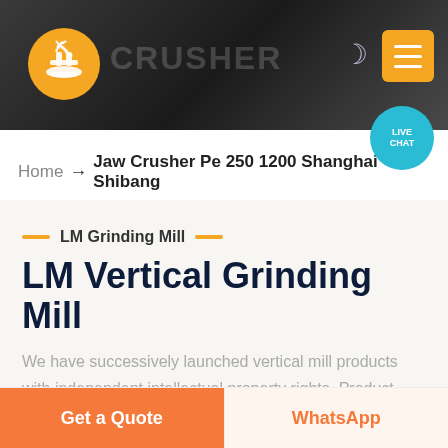[Figure (screenshot): Website header banner with dark background showing industrial machinery/crusher, orange logo on left, CRUSHER text, moon icon and orange menu button on right]
Home → Jaw Crusher Pe 250 1200 Shanghai Shibang
LM Grinding Mill
LM Vertical Grinding Mill
We have successively launched vertical mill products with independent intellectual property rights. Product Features: Integration of multiple functions, more stable and reliable production and more excellent capacity
Get a Quote   WhatsApp